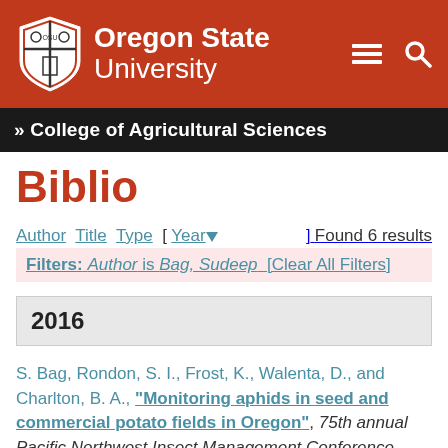Oregon State University
» College of Agricultural Sciences
Biblio
Author Title Type [ Year ] Found 6 results
Filters: Author is Bag, Sudeep [Clear All Filters]
2016
S. Bag, Rondon, S. I., Frost, K., Walenta, D., and Charlton, B. A., "Monitoring aphids in seed and commercial potato fields in Oregon", 75th annual Pacific Northwest Insect Management Conference,